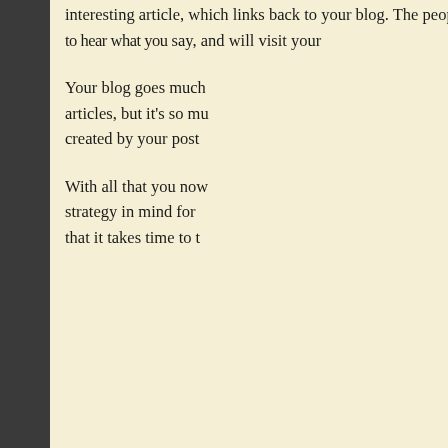[Figure (illustration): Tactics book/course cover image with red banner saying TACTICS and car/money imagery on a laptop screen]
interesting article, which links back to your blog. The people will want to hear what you say, and will visit your blog to find out.
Your blog goes much further than just articles, but it's so much about the image created by your posts.
With all that you now know, and a clear strategy in mind for your blog, just know that it takes time to t
You must be logged in to
[Figure (infographic): Social Studio banner ad: 'You No Longer Need Any More Social A... Control Everything From One Dashbo...' with logo and colorful dots]